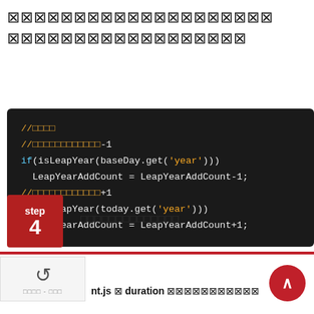⊠⊠⊠⊠⊠⊠⊠⊠⊠⊠⊠⊠⊠⊠⊠⊠⊠⊠⊠⊠ ⊠⊠⊠⊠⊠⊠⊠⊠⊠⊠⊠⊠⊠⊠⊠⊠⊠
[Figure (screenshot): Dark-background code block showing JavaScript code with comments in orange and keywords in blue. Code: //□□□□ //□□□□□□□□□□□□-1 if(isLeapYear(baseDay.get('year'))) LeapYearAddCount = LeapYearAddCount-1; //□□□□□□□□□□□□+1 if(isLeapYear(today.get('year'))) LeapYearAddCount = LeapYearAddCount+1;]
step 4
□□□□□□□□□□□□□□
nt.js □ duration □□□□□□□□□□□□